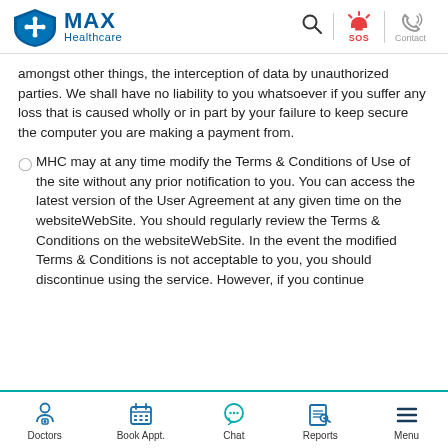[Figure (logo): MAX Healthcare logo with shield icon, blue text]
amongst other things, the interception of data by unauthorized parties. We shall have no liability to you whatsoever if you suffer any loss that is caused wholly or in part by your failure to keep secure the computer you are making a payment from.
MHC may at any time modify the Terms & Conditions of Use of the site without any prior notification to you. You can access the latest version of the User Agreement at any given time on the websiteWebSite. You should regularly review the Terms & Conditions on the websiteWebSite. In the event the modified Terms & Conditions is not acceptable to you, you should discontinue using the service. However, if you continue
[Figure (infographic): Bottom navigation bar with icons for Doctors, Book Appt., Chat, Reports, Menu]